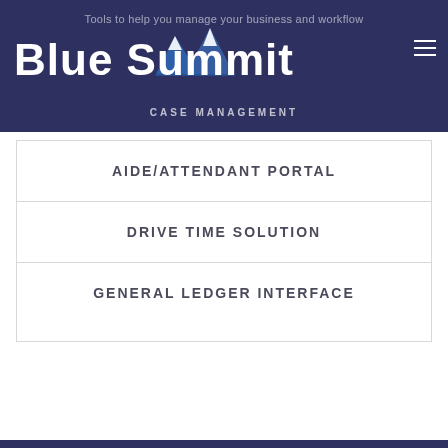Tools to help you manage your business and workflow
[Figure (logo): Blue Summit Case Management logo with mountain graphic and bold white text on dark navy background]
AIDE/ATTENDANT PORTAL
DRIVE TIME SOLUTION
GENERAL LEDGER INTERFACE